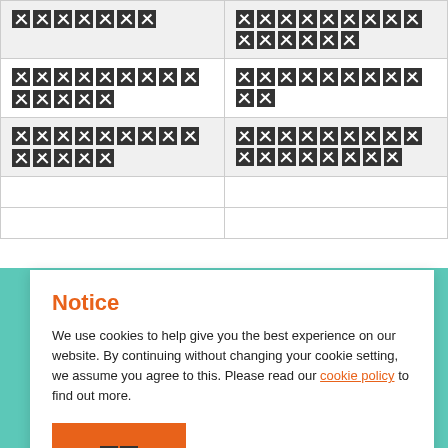| [redacted] | [redacted] |
| [redacted] | [redacted] |
| [redacted] | [redacted] |
|  |  |
|  |  |
Notice
We use cookies to help give you the best experience on our website. By continuing without changing your cookie setting, we assume you agree to this. Please read our cookie policy to find out more.